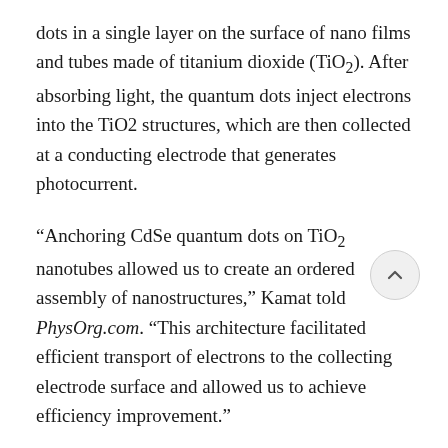dots in a single layer on the surface of nano films and tubes made of titanium dioxide (TiO2). After absorbing light, the quantum dots inject electrons into the TiO2 structures, which are then collected at a conducting electrode that generates photocurrent.
“Anchoring CdSe quantum dots on TiO2 nanotubes allowed us to create an ordered assembly of nanostructures,” Kamat told PhysOrg.com. “This architecture facilitated efficient transport of electrons to the collecting electrode surface and allowed us to achieve efficiency improvement.”
The researchers used four different sizes of quantum dots (between 2.3 and 3.7 nm in diameter) which exhibited absorbent peaks at